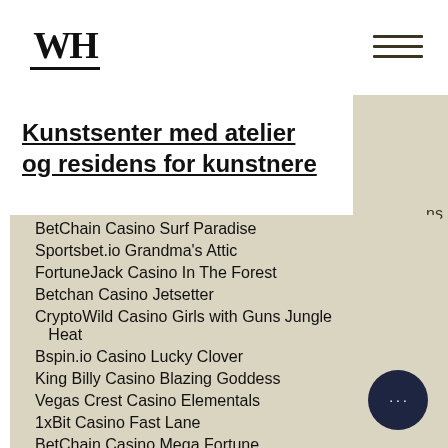[Figure (logo): WH logo with double underline]
Kunstsenter med atelier og residens for kunstnere
BetChain Casino Surf Paradise
Sportsbet.io Grandma's Attic
FortuneJack Casino In The Forest
Betchan Casino Jetsetter
CryptoWild Casino Girls with Guns Jungle Heat
Bspin.io Casino Lucky Clover
King Billy Casino Blazing Goddess
Vegas Crest Casino Elementals
1xBit Casino Fast Lane
BetChain Casino Mega Fortune
mBit Casino Age Of The Gods
22Bet Casino Khepri The Eternal God
Vegas Crest Casino Sam on the Beach